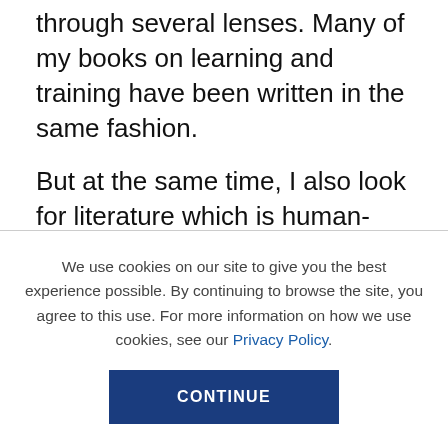through several lenses. Many of my books on learning and training have been written in the same fashion.
But at the same time, I also look for literature which is human-experience based. I draw my inspiration from books like 'Dale Carnegie' which is based on hundreds of real life stories. There is a lot of distilled wisdom which can be drawn from stories like this. Things happening around in our day-to-day life, in our relationships and personal interactions, inspire me. For instance, I have written books on poetry which is
We use cookies on our site to give you the best experience possible. By continuing to browse the site, you agree to this use. For more information on how we use cookies, see our Privacy Policy.
CONTINUE